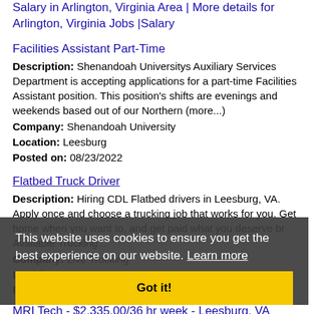Salary in Arlington, Virginia Area | More details for Arlington, Virginia Jobs |Salary
Facilities Assistant Part-Time
Description: Shenandoah Universitys Auxiliary Services Department is accepting applications for a part-time Facilities Assistant position. This position's shifts are evenings and weekends based out of our Northern (more...)
Company: Shenandoah University
Location: Leesburg
Posted on: 08/23/2022
Flatbed Truck Driver
Description: Hiring CDL Flatbed drivers in Leesburg, VA. Apply once and choose a trucking job that works for you. Get home when you want to, and get paid what you deserve br Available Trucking...
Company: Live Trucking
Location: Leesburg
Posted on: 08/23/2022
MRI Tech - $2,335.00/36 hr week - Leesburg, VA
Description: 2,335.00 total gross weekly for 36 hoursStipends: 1,295.00 weeklyTaxable
This website uses cookies to ensure you get the best experience on our website. Learn more Got it!